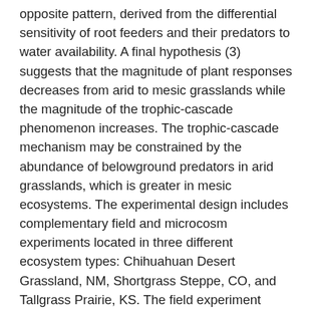opposite pattern, derived from the differential sensitivity of root feeders and their predators to water availability. A final hypothesis (3) suggests that the magnitude of plant responses decreases from arid to mesic grasslands while the magnitude of the trophic-cascade phenomenon increases. The trophic-cascade mechanism may be constrained by the abundance of belowground predators in arid grasslands, which is greater in mesic ecosystems. The experimental design includes complementary field and microcosm experiments located in three different ecosystem types: Chihuahuan Desert Grassland, NM, Shortgrass Steppe, CO, and Tallgrass Prairie, KS. The field experiment includes additions and reductions of precipitation at each site. The microcosm experiment is based on monoliths subjected to 4 soil fauna treatments x 5 water manipulation levels. Soil fauna treatments consist of (1) soil devoid of fauna (just native bacteria and fungi), (2) defaunated soil inoculated with nematode root feeders, (3) defaunated soil inoculated with nematode root feeders and predators, and (4)